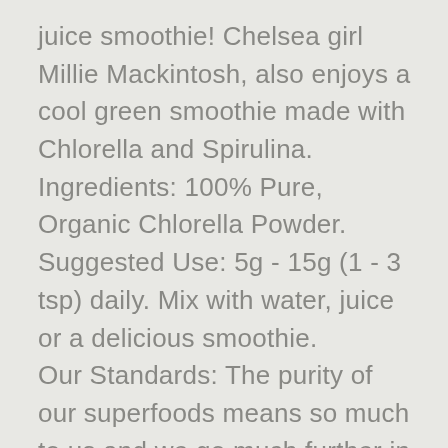juice smoothie! Chelsea girl Millie Mackintosh, also enjoys a cool green smoothie made with Chlorella and Spirulina.
Ingredients: 100% Pure, Organic Chlorella Powder.
Suggested Use: 5g - 15g (1 - 3 tsp) daily. Mix with water, juice or a delicious smoothie.
Our Standards: The purity of our superfoods means so much to us and we go much further in testing than is required by the current organic standards for our Golden Greens® Organic range. Also